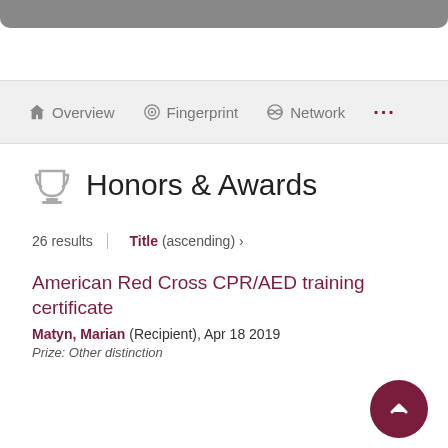Overview | Fingerprint | Network | ...
Honors & Awards
26 results | Title (ascending) >
American Red Cross CPR/AED training certificate
Matyn, Marian (Recipient), Apr 18 2019
Prize: Other distinction